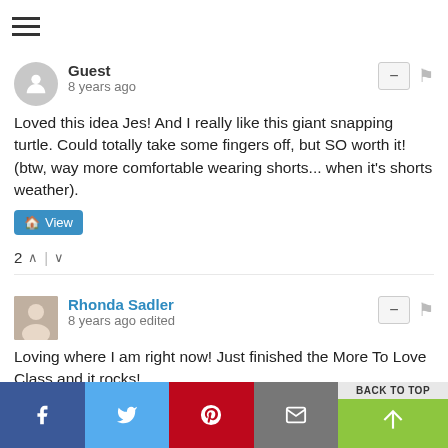☰
Guest
8 years ago
Loved this idea Jes! And I really like this giant snapping turtle. Could totally take some fingers off, but SO worth it! (btw, way more comfortable wearing shorts... when it's shorts weather).
View
2 ∧ | ∨
Rhonda Sadler
8 years ago edited
Loving where I am right now! Just finished the More To Love Class and it rocks!
http://www.moretolovewithra...
View
2 ∧ | ∨
Meg
8 years ago
f  🐦  ⊕  ✉  BACK TO TOP  ↗